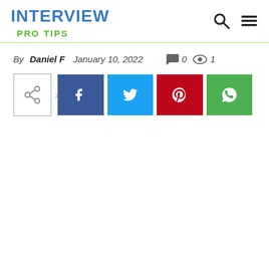INTERVIEW
PRO TIPS
By Daniel F   January 10, 2022   0   1
[Figure (screenshot): Social media share buttons: share icon with arrow, Facebook, Twitter, Pinterest, WhatsApp]